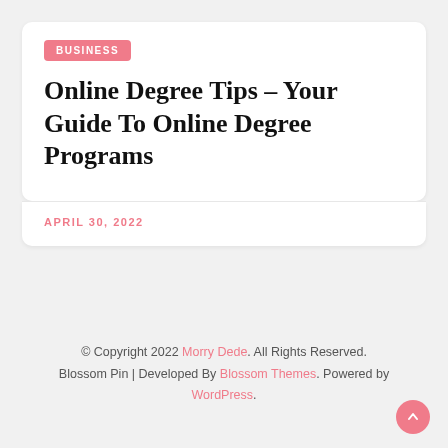BUSINESS
Online Degree Tips – Your Guide To Online Degree Programs
APRIL 30, 2022
© Copyright 2022 Morry Dede. All Rights Reserved. Blossom Pin | Developed By Blossom Themes. Powered by WordPress.